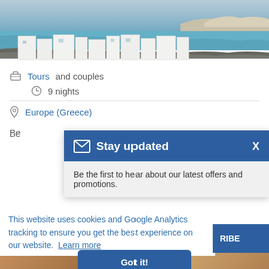[Figure (photo): Coastal Greek island scene with white buildings, rocky shoreline, and turquoise water (Mykonos)]
Tours and couples
9 nights
Europe (Greece)
Be
Stay updated
Be the first to hear about our latest offers and promotions.
RIBE
This website uses cookies and Google Analytics tracking to ensure you get the best experience on our website. Learn more
Got it!
[Figure (photo): Bottom strip of three small travel photos]